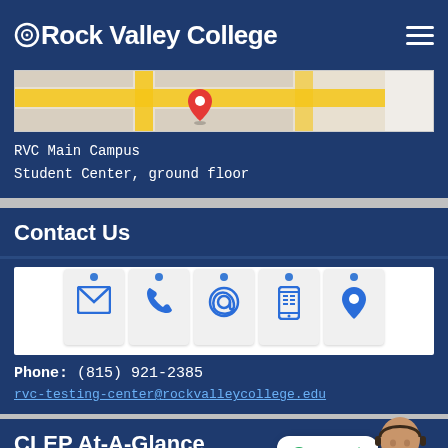Rock Valley College
[Figure (map): Google Maps showing RVC Main Campus location with a red pin marker and yellow road]
RVC Main Campus
Student Center, ground floor
Contact Us
[Figure (illustration): Five icon cards pinned at the top showing: envelope (mail), phone handset, at-sign (email), mobile phone, and location pin — all in blue on white paper cards]
Phone: (815) 921-2385
rvc-testing-center@rockvalleycollege.edu
CLEP At-A-Glance
CLEP At-A-Glance Placeholder text visible bottom of page
[Figure (illustration): Support Online chat bubble with green text and customer service representative photo]